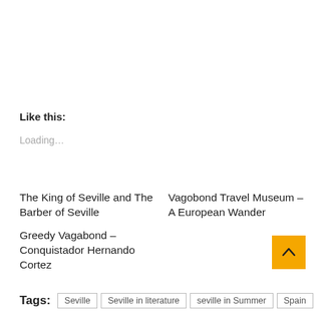Like this:
Loading…
The King of Seville and The Barber of Seville
Vagobond Travel Museum – A European Wander
Greedy Vagabond – Conquistador Hernando Cortez
Tags:  Seville  Seville in literature  seville in Summer  Spain